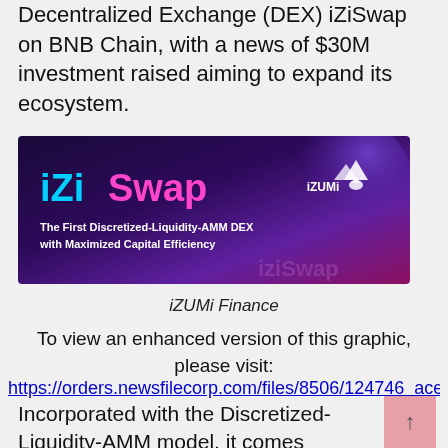Decentralized Exchange (DEX) iZiSwap on BNB Chain, with a news of $30M investment raised aiming to expand its ecosystem.
[Figure (illustration): iZiSwap banner with dark blue/purple gradient background showing iZiSwap logo in cyan/pink text, iZUMi logo top right, and tagline 'The First Discretized-Liquidity-AMM DEX with Maximized Capital Efficiency']
iZUMi Finance
To view an enhanced version of this graphic, please visit:
https://orders.newsfilecorp.com/files/8506/124746_ace13...
Incorporated with the Discretized-Liquidity-AMM model, it comes alongside the debut of iZUMi's new U.S. dollar-pegged, 100%